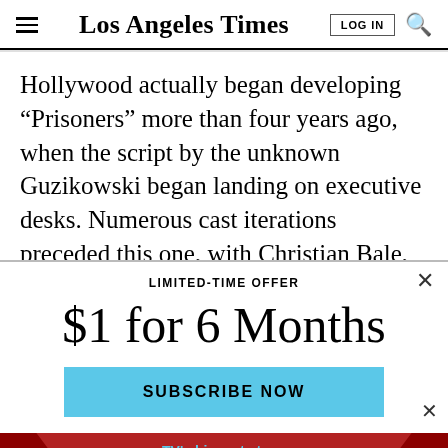Los Angeles Times
Hollywood actually began developing “Prisoners” more than four years ago, when the script by the unknown Guzikowski began landing on executive desks. Numerous cast iterations preceded this one, with Christian Bale, Leonardo DiCaprio and Mark Wahlberg...
LIMITED-TIME OFFER
$1 for 6 Months
SUBSCRIBE NOW
By continuing to use our site, you agree to our Terms of Service and Privacy Policy. You can learn more about how we use cookies by reviewing our Privacy Policy. Close